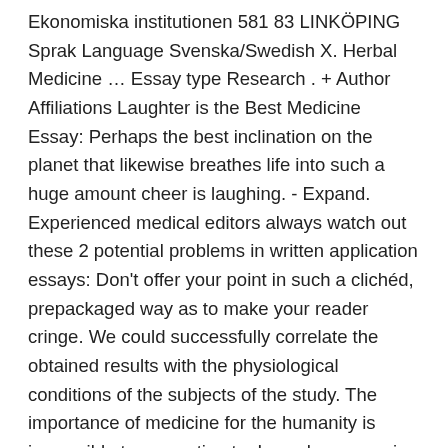Ekonomiska institutionen 581 83 LINKÖPING Sprak Language Svenska/Swedish X. Herbal Medicine … Essay type Research . + Author Affiliations Laughter is the Best Medicine Essay: Perhaps the best inclination on the planet that likewise breathes life into such a huge amount cheer is laughing. - Expand. Experienced medical editors always watch out these 2 potential problems in written application essays: Don't offer your point in such a clichéd, prepackaged way as to make your reader cringe. We could successfully correlate the obtained results with the physiological conditions of the subjects of the study. The importance of medicine for the humanity is impossible to overestimate. In such a scenario, the point to ponder is how the citizens across the world, especially those of developing nations afford to pay for They give real-time, records that are based on an individual patient, which are made availed securely and instantly to medical practitioners with authorization. ... Sieve the information to deliver only the crucial components of medicine in your essay about medical treatment. In the worst case scenario, if the severe conditions are